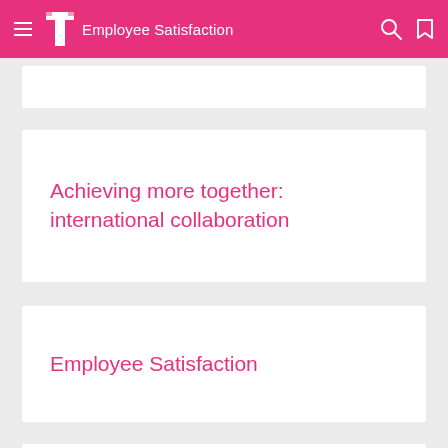Employee Satisfaction
Achieving more together: international collaboration
Employee Satisfaction
Internet access on planes